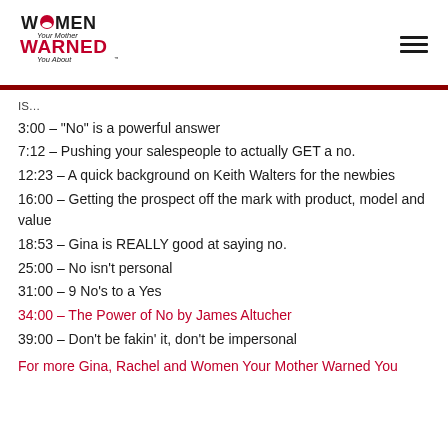Women Your Mother Warned You About
IS…
3:00 – "No" is a powerful answer
7:12 – Pushing your salespeople to actually GET a no.
12:23 – A quick background on Keith Walters for the newbies
16:00 – Getting the prospect off the mark with product, model and value
18:53 – Gina is REALLY good at saying no.
25:00 – No isn't personal
31:00 – 9 No's to a Yes
34:00 – The Power of No by James Altucher
39:00 – Don't be fakin' it, don't be impersonal
For more Gina, Rachel and Women Your Mother Warned You